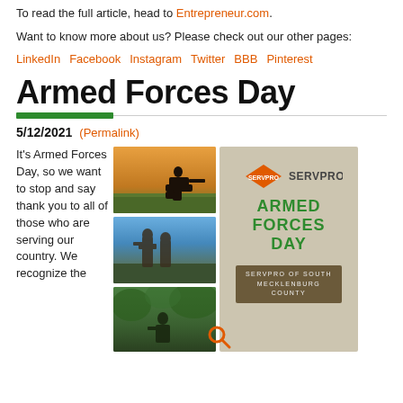To read the full article, head to Entrepreneur.com.
Want to know more about us? Please check out our other pages:
LinkedIn  Facebook  Instagram  Twitter  BBB  Pinterest
Armed Forces Day
5/12/2021 (Permalink)
It's Armed Forces Day, so we want to stop and say thank you to all of those who are serving our country. We recognize the
[Figure (photo): Three military/soldier photos stacked vertically on left, and a SERVPRO Armed Forces Day promotional graphic on right with SERVPRO of South Mecklenburg County text]